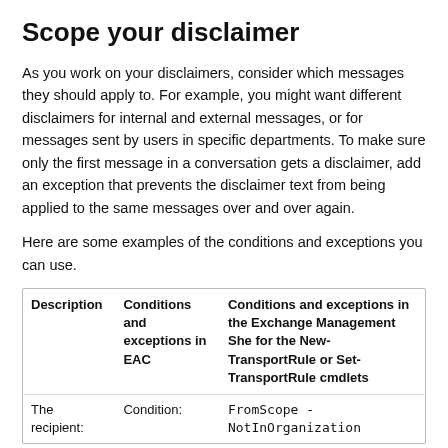Scope your disclaimer
As you work on your disclaimers, consider which messages they should apply to. For example, you might want different disclaimers for internal and external messages, or for messages sent by users in specific departments. To make sure only the first message in a conversation gets a disclaimer, add an exception that prevents the disclaimer text from being applied to the same messages over and over again.
Here are some examples of the conditions and exceptions you can use.
| Description | Conditions and exceptions in EAC | Conditions and exceptions in the Exchange Management Shell for the New-TransportRule or Set-TransportRule cmdlets |
| --- | --- | --- |
| The recipient: | Condition: | FromScope -NotInOrganization |